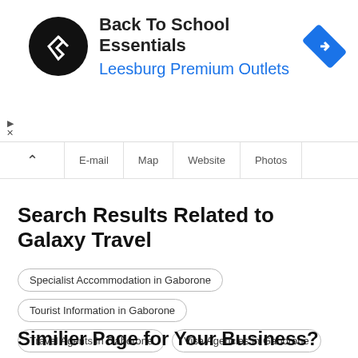[Figure (infographic): Advertisement banner for Back To School Essentials at Leesburg Premium Outlets, featuring a circular logo with arrows icon and a blue navigation diamond icon on the right]
E-mail   Map   Website   Photos
Search Results Related to Galaxy Travel
Specialist Accommodation in Gaborone
Tourist Information in Gaborone
Travel Agents in Gaborone
Visa Agencies in Gaborone
Air Travel in Gaborone
Car Rental in Gaborone
Similiar Page for Your Business?